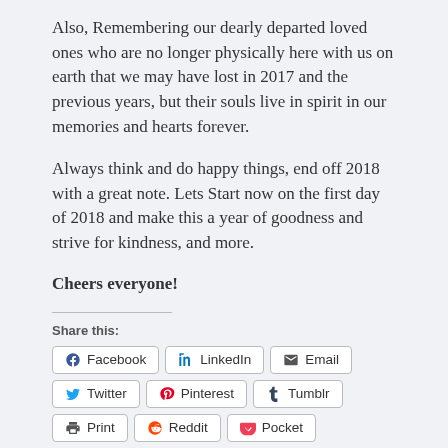Also, Remembering our dearly departed loved ones who are no longer physically here with us on earth that we may have lost in 2017 and the previous years, but their souls live in spirit in our memories and hearts forever.
Always think and do happy things, end off 2018 with a great note. Lets Start now on the first day of 2018 and make this a year of goodness and strive for kindness, and more.
Cheers everyone!
Share this:
Facebook  LinkedIn  Email  Twitter  Pinterest  Tumblr  Print  Reddit  Pocket